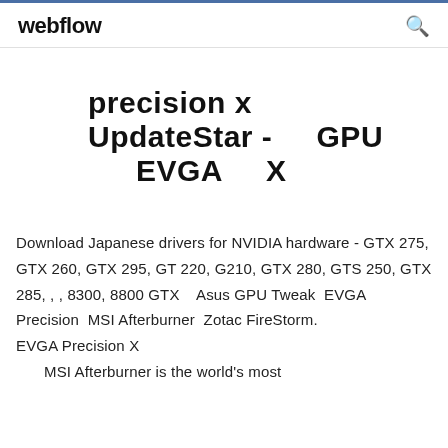webflow
precision x UpdateStar - GPU EVGA X
Download Japanese drivers for NVIDIA hardware - GTX 275, GTX 260, GTX 295, GT 220, G210, GTX 280, GTS 250, GTX 285, , , 8300, 8800 GTX   Asus GPU Tweak  EVGA Precision  MSI Afterburner  Zotac FireStorm.
EVGA Precision X
  MSI Afterburner is the world's most